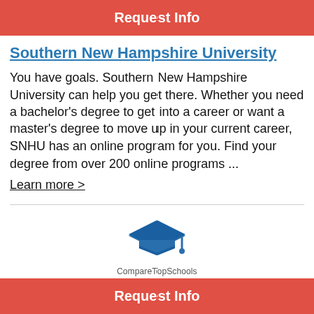Request Info
Southern New Hampshire University
You have goals. Southern New Hampshire University can help you get there. Whether you need a bachelor's degree to get into a career or want a master's degree to move up in your current career, SNHU has an online program for you. Find your degree from over 200 online programs ... Learn more >
[Figure (logo): CompareTopSchools logo with graduation cap icon in blue]
Request Info